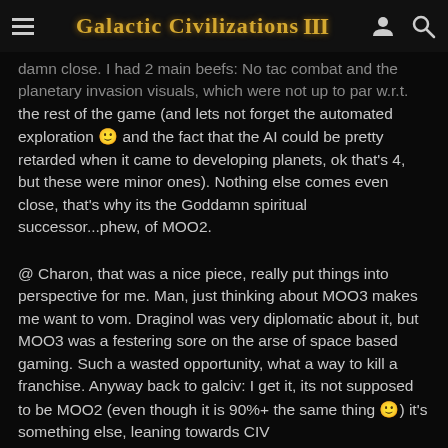Galactic Civilizations III
damn close. I had 2 main beefs: No tac combat and the planetary invasion visuals, which were not up to par w.r.t. the rest of the game (and lets not forget the automated exploration 🙂 and the fact that the AI could be pretty retarded when it came to developing planets, ok that's 4, but these were minor ones). Nothing else comes even close, that's why its the Goddamn spiritual successor...phew, of MOO2.
@ Charon, that was a nice piece, really put things into perspective for me. Man, just thinking about MOO3 makes me want to vom. Draginol was very diplomatic about it, but MOO3 was a festering sore on the arse of space based gaming. Such a wasted opportunity, what a way to kill a franchise. Anyway back to galciv: I get it, its not supposed to be MOO2 (even though it is 90%+ the same thing 🙂) it's something else, leaning towards CIV